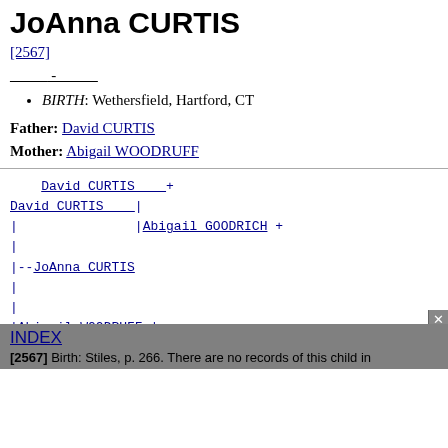JoAnna CURTIS
[2567]
_____ - _____
BIRTH: Wethersfield, Hartford, CT
Father: David CURTIS
Mother: Abigail WOODRUFF
Pedigree chart: David CURTIS + / David CURTIS | / | Abigail GOODRICH + / | / |--JoAnna CURTIS / | / | / | Abigail WOODDRUFF | / |______________ / |______________
INDEX
[2567] Birth: Stiles, p. 266. There are no records of this child in